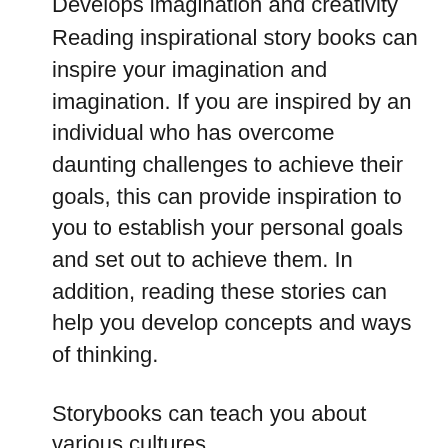Develops imagination and creativity
Reading inspirational story books can inspire your imagination and imagination. If you are inspired by an individual who has overcome daunting challenges to achieve their goals, this can provide inspiration to you to establish your personal goals and set out to achieve them. In addition, reading these stories can help you develop concepts and ways of thinking.
Storybooks can teach you about various cultures
Storybooks can be an excellent way to gain knowledge about other cultures. If you’re interested in learning about the ways of life in other countries, or getting acquainted how customs are shaped and beliefs of one culture,